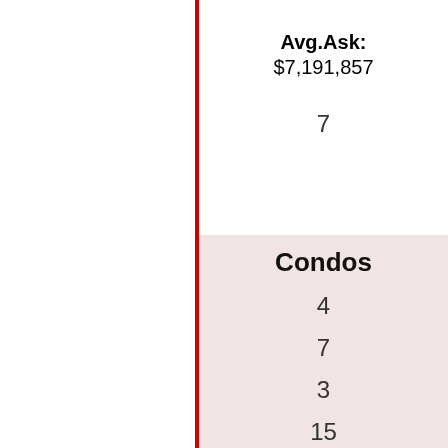Avg.Ask: $7,191,857
7
Condos
4
7
3
15
Avg.Ask: $9,722,586 Avg.$/sq.ft.: $3,169/sq.ft. Avg.Size: 3,068 sq.ft.
29